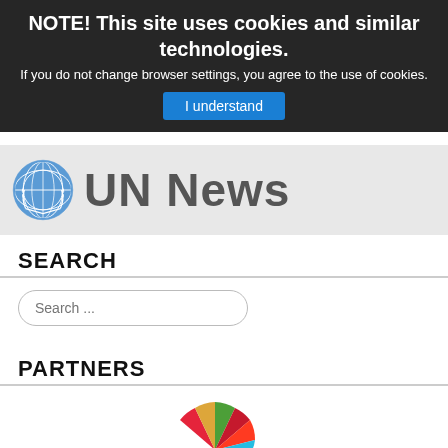NOTE! This site uses cookies and similar technologies. If you do not change browser settings, you agree to the use of cookies.
I understand
[Figure (logo): UN emblem logo followed by UN News text logo on grey background]
SEARCH
Search ...
PARTNERS
[Figure (illustration): Partial SDG circular wheel logo with multicolored segments visible at bottom of page]